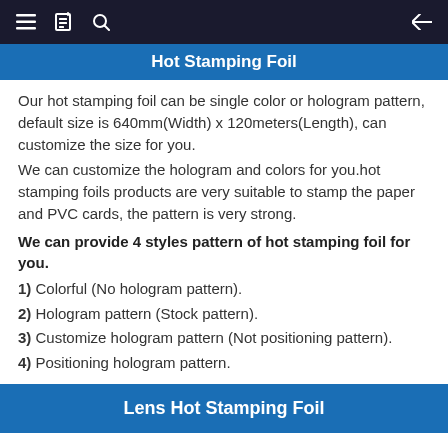Hot Stamping Foil
Our hot stamping foil can be single color or hologram pattern, default size is 640mm(Width) x 120meters(Length), can customize the size for you.
We can customize the hologram and colors for you.hot stamping foils products are very suitable to stamp the paper and PVC cards, the pattern is very strong.
We can provide 4 styles pattern of hot stamping foil for you.
1) Colorful (No hologram pattern).
2) Hologram pattern (Stock pattern).
3) Customize hologram pattern (Not positioning pattern).
4) Positioning hologram pattern.
Lens Hot Stamping Foil
The "lens" holographic effect is a new holographic effect with unique biconvex 3D visual effects, which can greatly enrich the value of...